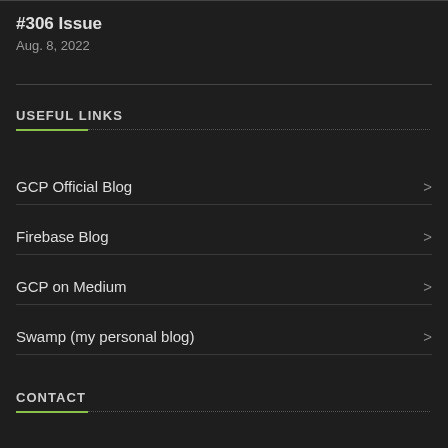#306 Issue
Aug. 8, 2022
USEFUL LINKS
GCP Official Blog
Firebase Blog
GCP on Medium
Swamp (my personal blog)
CONTACT